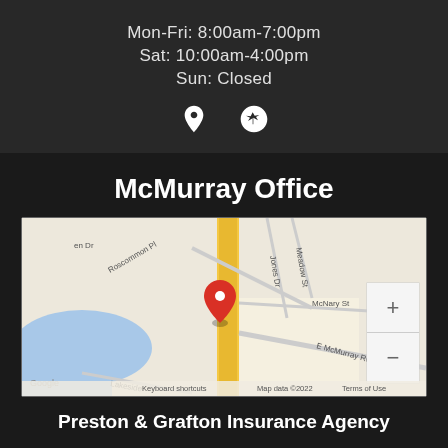Mon-Fri: 8:00am-7:00pm
Sat: 10:00am-4:00pm
Sun: Closed
[Figure (infographic): Location pin icon and Yelp icon]
McMurray Office
[Figure (map): Google Maps screenshot showing McMurray Office location on E McMurray Rd with a red location pin marker. Streets visible include Roscommon Pl, Jones Dr, Meadow St, McNary St, E McMurray Rd. Map data ©2022. Zoom controls visible. Google branding and Keyboard shortcuts / Terms of Use labels visible.]
Preston & Grafton Insurance Agency